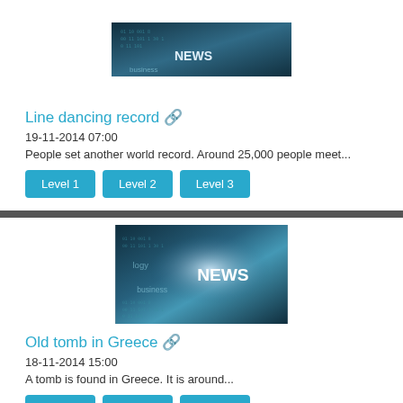[Figure (photo): Dark blue digital/news background image at top, partially visible]
Line dancing record 🔗
19-11-2014 07:00
People set another world record. Around 25,000 people meet...
Level 1
Level 2
Level 3
[Figure (photo): Dark blue digital/news background image with NEWS text visible]
Old tomb in Greece 🔗
18-11-2014 15:00
A tomb is found in Greece. It is around...
Level 1
Level 2
Level 3
[Figure (photo): Dark blue digital/news background image, partially visible at bottom]